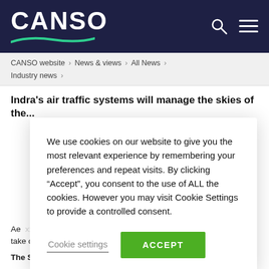[Figure (logo): CANSO logo in white text on dark navy background with green swoosh underline and search/menu icons]
CANSO website > News & views > All News > Industry news >
Indra's air traffic systems will manage the skies of the...
We use cookies on our website to give you the most relevant experience by remembering your preferences and repeat visits. By clicking “Accept”, you consent to the use of ALL the cookies. However you may visit Cookie Settings to provide a controlled consent.
Cookie settings   ACCEPT
Ae… take on…
The Story: The future...